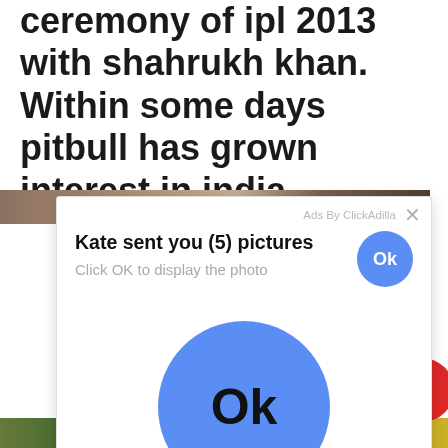ceremony of ipl 2013 with shahrukh khan. Within some days pitbull has grown interest in india.
[Figure (photo): Partial photo strip visible behind ad overlay, showing blurred figures]
[Figure (screenshot): Ad overlay from ClickAdilla: 'Kate sent you (5) pictures / Click OK to display the photo' with a blue Ok button]
[Figure (photo): Bottom strip showing partial faces/figures in green/yellow tones]